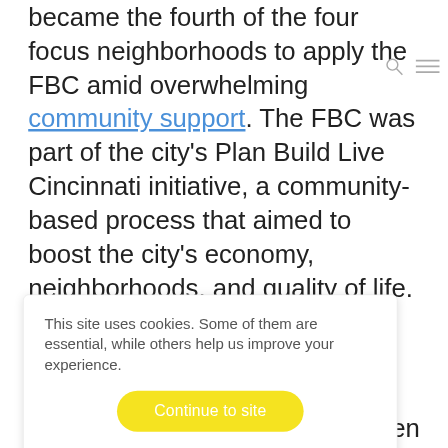became the fourth of the four focus neighborhoods to apply the FBC amid overwhelming community support. The FBC was part of the city's Plan Build Live Cincinnati initiative, a community-based process that aimed to boost the city's economy, neighborhoods, and quality of life.
[Figure (screenshot): Cookie consent banner overlay with text 'This site uses cookies. Some of them are essential, while others help us improve your experience.' A yellow 'Continue to site' button, a 'Preferences' link in yellow, and a 'clym' logo with teal checkmark.]
[Figure (other): Yellow close button (X) in bottom left corner]
We feel strongly that this code and process can
een
reemed
ent award
rincipal
Dan Parolek.